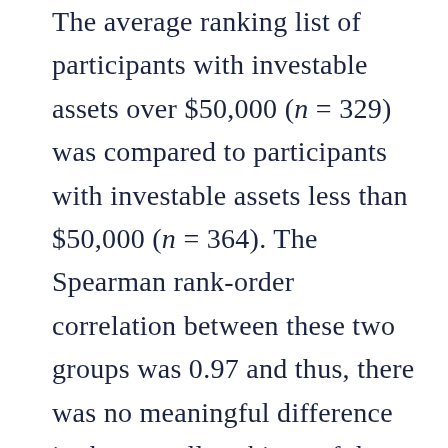The average ranking list of participants with investable assets over $50,000 (n = 329) was compared to participants with investable assets less than $50,000 (n = 364). The Spearman rank-order correlation between these two groups was 0.97 and thus, there was no meaningful difference in the overall rankings of these two groups. Similar analyses were conducted comparing participants' gender, age, race, education level, and experience in working with a financial adviser. The analysis found that each of the different subgroups' average rankings were highly correlated, so again, there were no substantive